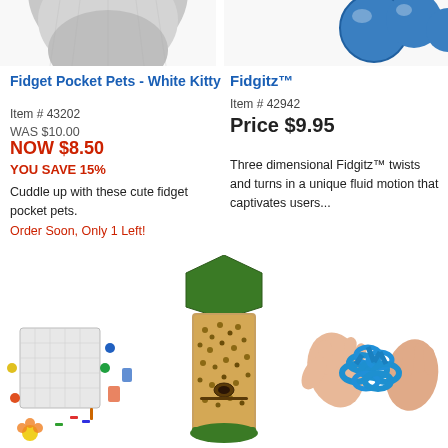[Figure (photo): Top portion of white kitty fidget pocket pet toy (cropped, showing lower part)]
[Figure (photo): Top portion of Fidgitz blue balls toy (cropped, showing lower part)]
Fidget Pocket Pets - White Kitty
Item # 43202
WAS $10.00
NOW $8.50
YOU SAVE 15%
Cuddle up with these cute fidget pocket pets.
Order Soon, Only 1 Left!
Fidgitz™
Item # 42942
Price $9.95
Three dimensional Fidgitz™ twists and turns in a unique fluid motion that captivates users...
[Figure (photo): Bingo/board game set with colorful pieces]
[Figure (photo): Tall cylindrical bird feeder with seeds]
[Figure (photo): Hands stretching a blue Fidgitz toy ring]